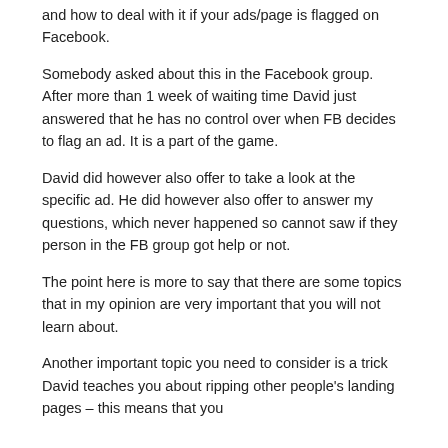and how to deal with it if your ads/page is flagged on Facebook.
Somebody asked about this in the Facebook group. After more than 1 week of waiting time David just answered that he has no control over when FB decides to flag an ad. It is a part of the game.
David did however also offer to take a look at the specific ad. He did however also offer to answer my questions, which never happened so cannot saw if they person in the FB group got help or not.
The point here is more to say that there are some topics that in my opinion are very important that you will not learn about.
Another important topic you need to consider is a trick David teaches you about ripping other people's landing pages – this means that you